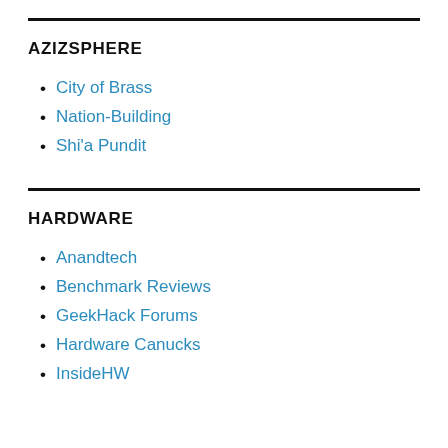AZIZSPHERE
City of Brass
Nation-Building
Shi'a Pundit
HARDWARE
Anandtech
Benchmark Reviews
GeekHack Forums
Hardware Canucks
InsideHW